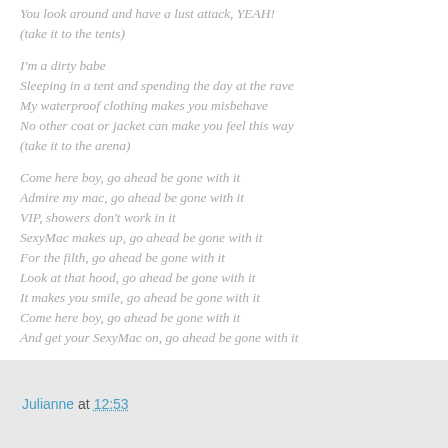You look around and have a lust attack, YEAH!
(take it to the tents)

I'm a dirty babe
Sleeping in a tent and spending the day at the rave
My waterproof clothing makes you misbehave
No other coat or jacket can make you feel this way
(take it to the arena)

Come here boy, go ahead be gone with it
Admire my mac, go ahead be gone with it
VIP, showers don't work in it
SexyMac makes up, go ahead be gone with it
For the filth, go ahead be gone with it
Look at that hood, go ahead be gone with it
It makes you smile, go ahead be gone with it
Come here boy, go ahead be gone with it
And get your SexyMac on, go ahead be gone with it
Julianne at 12:53